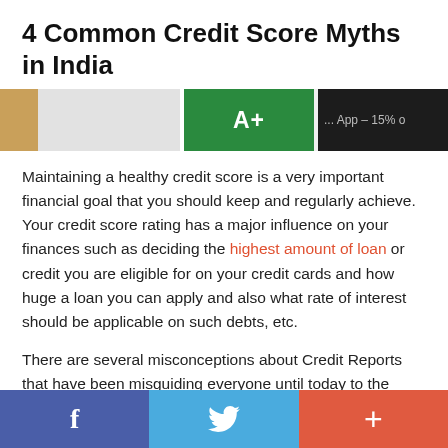4 Common Credit Score Myths in India
[Figure (photo): Partial banner image showing a green A+ grade card and text reading 'App – 15% o' on dark background with tan and grey sections]
Maintaining a healthy credit score is a very important financial goal that you should keep and regularly achieve. Your credit score rating has a major influence on your finances such as deciding the highest amount of loan or credit you are eligible for on your credit cards and how huge a loan you can apply and also what rate of interest should be applicable on such debts, etc.
There are several misconceptions about Credit Reports that have been misguiding everyone until today to the extent of making people overly
f  [Twitter bird]  +